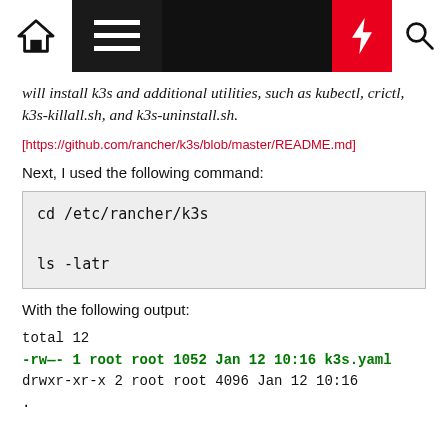Navigation bar with home, menu, bolt, and search icons
will install k3s and additional utilities, such as kubectl, crictl, k3s-killall.sh, and k3s-uninstall.sh.
[https://github.com/rancher/k3s/blob/master/README.md]
Next, I used the following command:
cd /etc/rancher/k3s

ls -latr
With the following output:
total 12
-rw—- 1 root root 1052 Jan 12 10:16 k3s.yaml
drwxr-xr-x 2 root root 4096 Jan 12 10:16
.